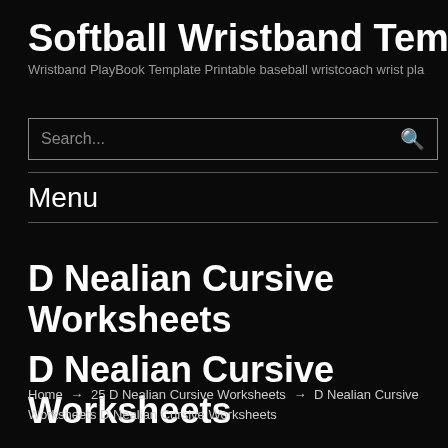Softball Wristband Template
Wristband PlayBook Template Printable baseball wristcoach wrist pla
Search...
Menu
D Nealian Cursive Worksheets
D Nealian Cursive Worksheets
Home → 25 D Nealian Cursive Worksheets → D Nealian Cursive Worksheets D Nealian Cursive Worksheets